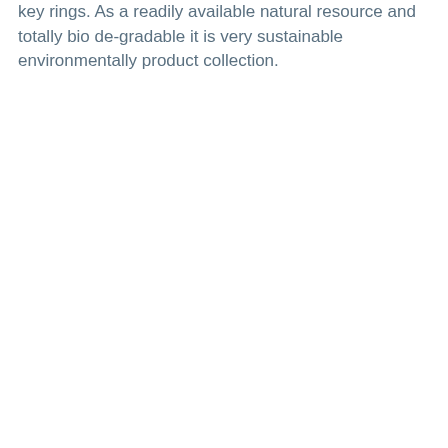key rings. As a readily available natural resource and totally bio de-gradable it is very sustainable environmentally product collection.